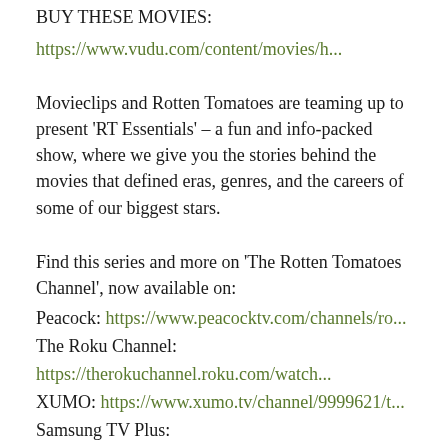BUY THESE MOVIES:
https://www.vudu.com/content/movies/h...
Movieclips and Rotten Tomatoes are teaming up to present ‘RT Essentials’ – a fun and info-packed show, where we give you the stories behind the movies that defined eras, genres, and the careers of some of our biggest stars.
Find this series and more on ‘The Rotten Tomatoes Channel’, now available on:
Peacock: https://www.peacocktv.com/channels/ro...
The Roku Channel:
https://therokuchannel.roku.com/watch...
XUMO: https://www.xumo.tv/channel/9999621/t...
Samsung TV Plus:
https://www.samsung.com/us/television...